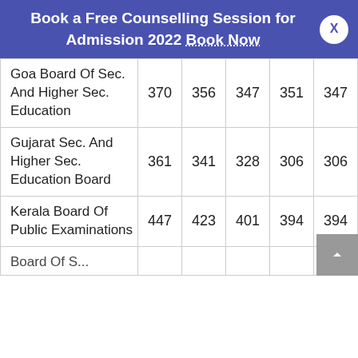Book a Free Counselling Session for Admission 2022 Book Now
| Goa Board Of Sec. And Higher Sec. Education | 370 | 356 | 347 | 351 | 347 |
| Gujarat Sec. And Higher Sec. Education Board | 361 | 341 | 328 | 306 | 306 |
| Kerala Board Of Public Examinations | 447 | 423 | 401 | 394 | 394 |
| Board Of S... |  |  |  |  |  |